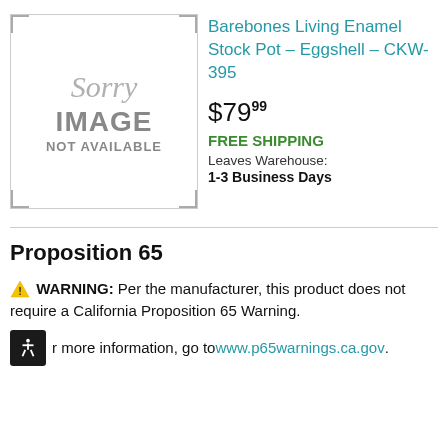[Figure (illustration): Sorry image not available placeholder with corner brackets]
Barebones Living Enamel Stock Pot – Eggshell – CKW-395
$79.99
FREE SHIPPING
Leaves Warehouse: 1-3 Business Days
Proposition 65
⚠ WARNING: Per the manufacturer, this product does not require a California Proposition 65 Warning.
For more information, go to www.p65warnings.ca.gov.